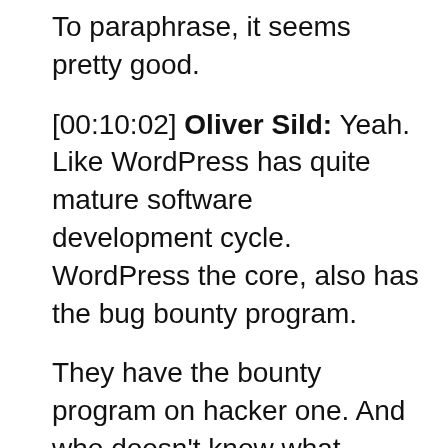To paraphrase, it seems pretty good.
[00:10:02] Oliver Sild: Yeah. Like WordPress has quite mature software development cycle. WordPress the core, also has the bug bounty program.
They have the bounty program on hacker one. And who doesn't know what backcountry program is? It's basically, like you say to hackers, come hack my software. If you find something report it directly to me so I can fix it, then they will